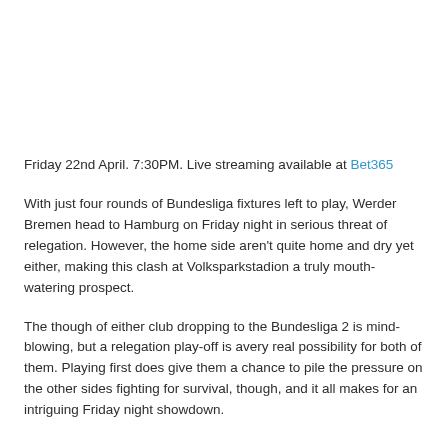Friday 22nd April. 7:30PM. Live streaming available at Bet365
With just four rounds of Bundesliga fixtures left to play, Werder Bremen head to Hamburg on Friday night in serious threat of relegation. However, the home side aren't quite home and dry yet either, making this clash at Volksparkstadion a truly mouth-watering prospect.
The though of either club dropping to the Bundesliga 2 is mind-blowing, but a relegation play-off is avery real possibility for both of them. Playing first does give them a chance to pile the pressure on the other sides fighting for survival, though, and it all makes for an intriguing Friday night showdown.